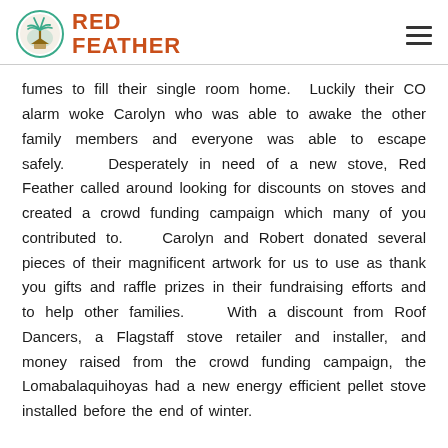Red Feather
fumes to fill their single room home. Luckily their CO alarm woke Carolyn who was able to awake the other family members and everyone was able to escape safely. Desperately in need of a new stove, Red Feather called around looking for discounts on stoves and created a crowd funding campaign which many of you contributed to. Carolyn and Robert donated several pieces of their magnificent artwork for us to use as thank you gifts and raffle prizes in their fundraising efforts and to help other families. With a discount from Roof Dancers, a Flagstaff stove retailer and installer, and money raised from the crowd funding campaign, the Lomabalaquihoyas had a new energy efficient pellet stove installed before the end of winter.